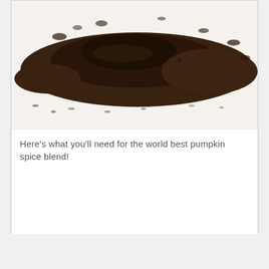[Figure (photo): Close-up photo of a pile of dark brown ground spice powder (pumpkin spice blend) on a white background, spread diagonally across the frame.]
Here's what you'll need for the world best pumpkin spice blend!